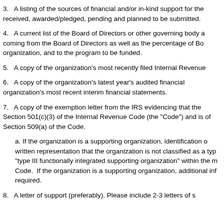3.  A listing of the sources of financial and/or in-kind support for the received, awarded/pledged, pending and planned to be submitted.
4.  A current list of the Board of Directors or other governing body a coming from the Board of Directors as well as the percentage of Bo organization, and to the program to be funded.
5.  A copy of the organization's most recently filed Internal Revenue
6.  A copy of the organization's latest year's audited financial organization's most recent interim financial statements.
7.  A copy of the exemption letter from the IRS evidencing that the Section 501(c)(3) of the Internal Revenue Code (the "Code") and is of Section 509(a) of the Code.
a. If the organization is a supporting organization, identification o written representation that the organization is not classified as a typ "type III functionally integrated supporting organization" within the m Code.  If the organization is a supporting organization, additional inf required.
8.  A letter of support (preferably). Please include 2-3 letters of s